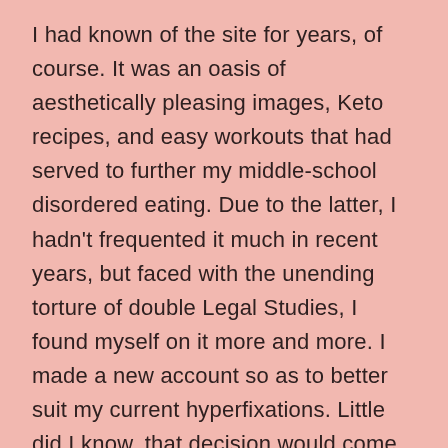I had known of the site for years, of course. It was an oasis of aesthetically pleasing images, Keto recipes, and easy workouts that had served to further my middle-school disordered eating. Due to the latter, I hadn't frequented it much in recent years, but faced with the unending torture of double Legal Studies, I found myself on it more and more. I made a new account so as to better suit my current hyperfixations. Little did I know, that decision would come to serve me more than I could have ever anticipated.
Logging onto my Pinterest feed, freshly wiped with no knowledge of my niche interests in 90s adult animation and Donna Tartt novels, I was faced with the selection the site showed to an